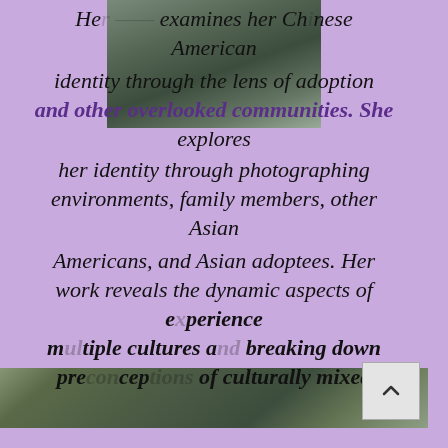[Figure (photo): Photograph of a Chinese waterway/canal with buildings and architecture, partially visible behind overlaid text at top]
Her [name] examines her Chinese American identity through the lens of adoption and other overlooked communities. She explores her identity through photographing environments, family members, other Asian Americans, and Asian adoptees. Her work reveals the dynamic aspects of [the] experience [of] multiple cultures and breaking down preconceptions of culturally mixed [individuals,] important aspects [of her work]. She enjoys shooting in film and digital formats.
[Figure (photo): Photograph of a Chinese street/garden scene with trees, buildings, red decorations, and a canal, overlapping with the text]
[Figure (other): Scroll up/navigation button with caret symbol in lower right corner]